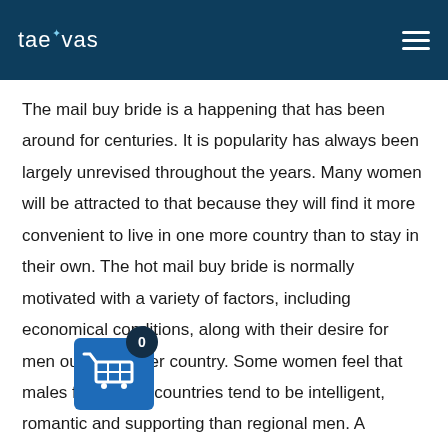taevas
The mail buy bride is a happening that has been around for centuries. It is popularity has always been largely unrevised throughout the years. Many women will be attracted to that because they will find it more convenient to live in one more country than to stay in their own. The hot mail buy bride is normally motivated with a variety of factors, including economical conditions, along with their desire for men out of another country. Some women feel that males from other countries tend to be intelligent, romantic and supporting than regional men. A number of these men are free of liquor and medicine addiction complications, which may damage a